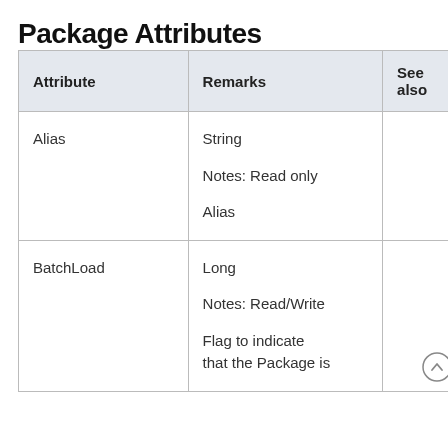Package Attributes
| Attribute | Remarks | See also |
| --- | --- | --- |
| Alias | String

Notes: Read only

Alias |  |
| BatchLoad | Long

Notes: Read/Write

Flag to indicate that the Package is |  |